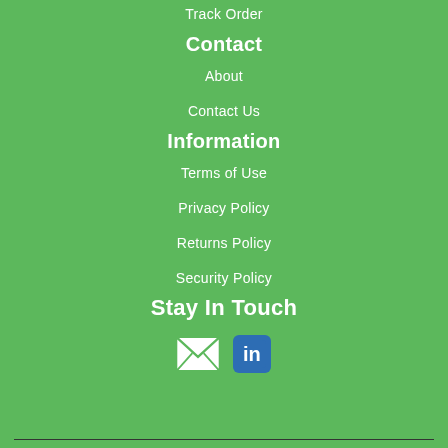Track Order
Contact
About
Contact Us
Information
Terms of Use
Privacy Policy
Returns Policy
Security Policy
Stay In Touch
[Figure (infographic): Social media icons: email envelope icon and LinkedIn icon]